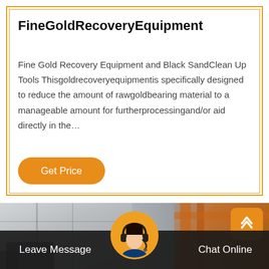FineGoldRecoveryEquipment
Fine Gold Recovery Equipment and Black SandClean Up Tools Thisgoldrecoveryequipmentis specifically designed to reduce the amount of rawgoldbearing material to a manageable amount for furtherprocessingand/or aid directly in the…
[Figure (photo): Industrial warehouse and orange machinery background image with scroll-to-top button]
Leave Message
Chat Online